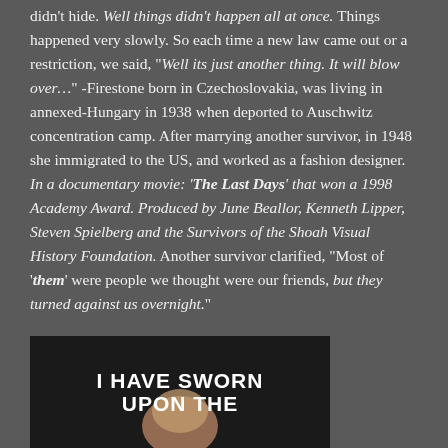didn't hide. Well things didn't happen all at once. Things happened very slowly. So each time a new law came out or a restriction, we said, "Well its just another thing. It will blow over…" -Firestone born in Czechoslovakia, was living in annexed-Hungary in 1938 when deported to Auschwitz concentration camp. After marrying another survivor, in 1948 she immigrated to the US, and worked as a fashion designer. In a documentary movie: 'The Last Days' that won a 1998 Academy Award. Produced by June Beallor, Kenneth Lipper, Steven Spielberg and the Survivors of the Shoah Visual History Foundation. Another survivor clarified, "Most of 'them' were people we thought were our friends, but they turned against us overnight."
[Figure (photo): Dark background image with text 'I HAVE SWORN UPON THE' in bold white capital letters, with a partial face visible at center bottom]